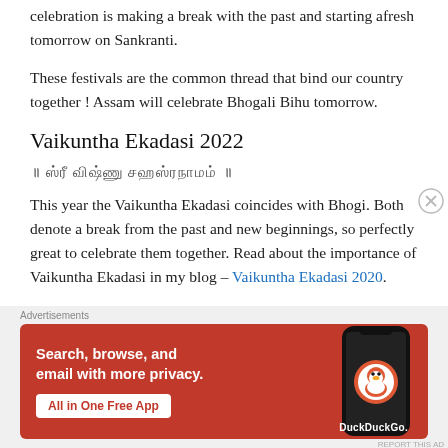celebration is making a break with the past and starting afresh tomorrow on Sankranti.
These festivals are the common thread that bind our country together ! Assam will celebrate Bhogali Bihu tomorrow.
Vaikuntha Ekadasi 2022
॥ ஸ்ரீ விஷ்ணு சஹஸ்ரநாமம் ॥
This year the Vaikuntha Ekadasi coincides with Bhogi. Both denote a break from the past and new beginnings, so perfectly great to celebrate them together. Read about the importance of Vaikuntha Ekadasi in my blog – Vaikuntha Ekadasi 2020.
[Figure (other): DuckDuckGo advertisement banner with orange/red background showing a smartphone. Text reads: Search, browse, and email with more privacy. All in One Free App. DuckDuckGo.]